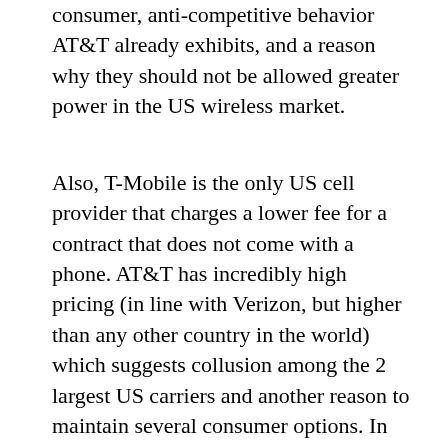consumer, anti-competitive behavior AT&T already exhibits, and a reason why they should not be allowed greater power in the US wireless market.
Also, T-Mobile is the only US cell provider that charges a lower fee for a contract that does not come with a phone. AT&T has incredibly high pricing (in line with Verizon, but higher than any other country in the world) which suggests collusion among the 2 largest US carriers and another reason to maintain several consumer options. In addition, AT&T's high pricing is defended by the company as hardware subsidies for consumers, allowing them to purchase new phones at a fraction of the true cost through a subsidy repaid during the life of the contract.  However, AT&T's contracts that do not include hardware cost, on a minute by minute and text message by text message, the same as their subsidy containing counterparts.  T-Mobile, as of this writing, offers a package